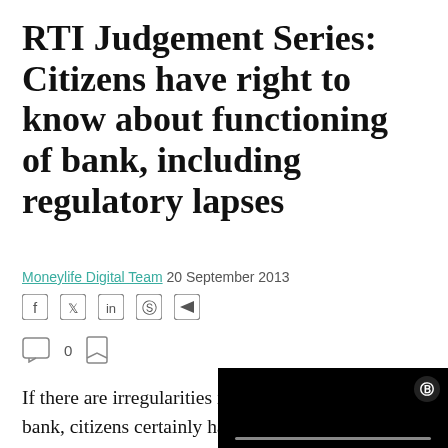RTI Judgement Series: Citizens have right to know about functioning of bank, including regulatory lapses
Moneylife Digital Team 20 September 2013
If there are irregularities in the functioning of the bank, citizens certainly have a right to know the same and the larger public interest is served by disclosing this information, the CIC ruled. This is the